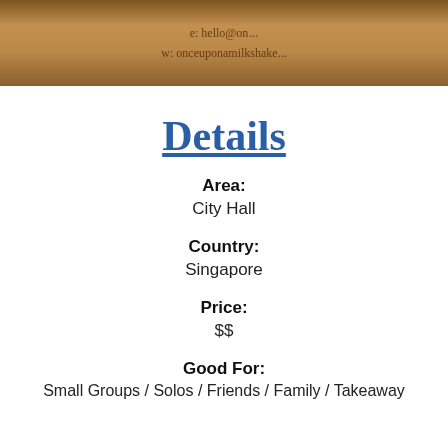[Figure (photo): Partial photo of a burlap/jute material card with text showing 'e: hello@on...' and 'w: onceuponamilkshake...' printed on it]
Details
Area:
City Hall
Country:
Singapore
Price:
$$
Good For:
Small Groups / Solos / Friends / Family / Takeaway